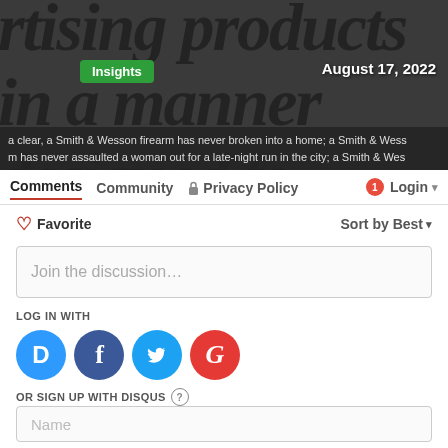[Figure (screenshot): Header image with stylized italic text in dark overlay. Shows text about advertising products. Green 'Insights' badge and 'August 17, 2022' date label visible.]
Comments | Community | Privacy Policy | Login
❤ Favorite    Sort by Best ▾
Join the discussion…
LOG IN WITH
OR SIGN UP WITH DISQUS ?
Name
Hammer
3 months ago